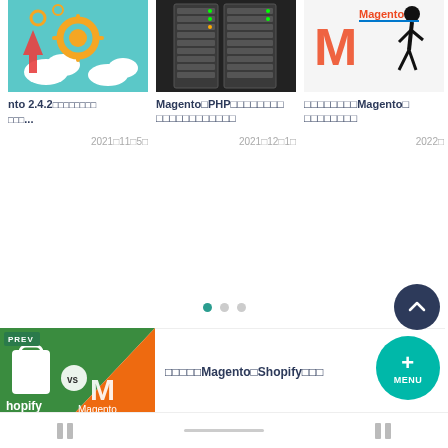[Figure (screenshot): Card 1: Cloud/Magento 2.4.2 article thumbnail with clouds and gear icons on teal background]
nto 2.4.2　　　　　　　　　
　　　...
2021ç11ç5ç
[Figure (screenshot): Card 2: Server rack photo for Magento PHP article]
Magento　PHP
2021ç12ç1ç
[Figure (screenshot): Card 3: Magento logo with walking figure silhouette]
Magento
2022
[Figure (screenshot): Shopify vs Magento article thumbnail: green Shopify vs orange Magento diagonal split]
Magento　Shopify
[Figure (screenshot): Magento 1 vs 2 Javascript article thumbnail with script tag]
Magento 2　　Javascript　　　　 Part1